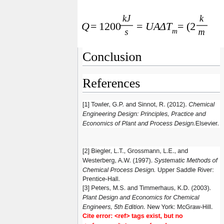Conclusion
References
[1] Towler, G.P. and Sinnot, R. (2012). Chemical Engineering Design: Principles, Practice and Economics of Plant and Process Design. Elsevier.
[2] Biegler, L.T., Grossmann, L.E., and Westerberg, A.W. (1997). Systematic Methods of Chemical Process Design. Upper Saddle River: Prentice-Hall.
[3] Peters, M.S. and Timmerhaus, K.D. (2003). Plant Design and Economics for Chemical Engineers, 5th Edition. New York: McGraw-Hill.
Cite error: <ref> tags exist, but no <references/> tag was found